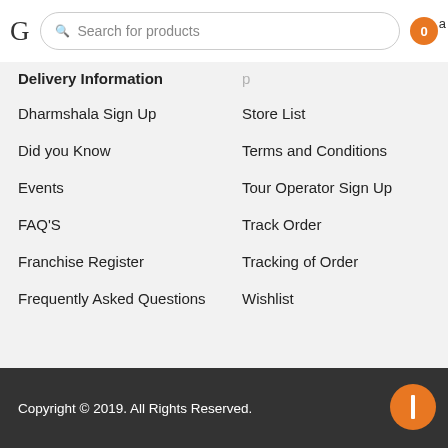G  Search for products  0
Delivery Information
Dharmshala Sign Up
Did you Know
Events
FAQ'S
Franchise Register
Frequently Asked Questions
Store List
Terms and Conditions
Tour Operator Sign Up
Track Order
Tracking of Order
Wishlist
Copyright © 2019. All Rights Reserved.